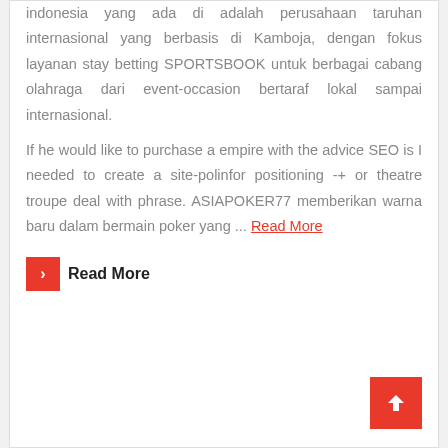indonesia yang ada di adalah perusahaan taruhan internasional yang berbasis di Kamboja, dengan fokus layanan stay betting SPORTSBOOK untuk berbagai cabang olahraga dari event-occasion bertaraf lokal sampai internasional.
If he would like to purchase a empire with the advice SEO is I needed to create a site-polinfor positioning -+ or theatre troupe deal with phrase. ASIAPOKER77 memberikan warna baru dalam bermain poker yang ... Read More
Read More